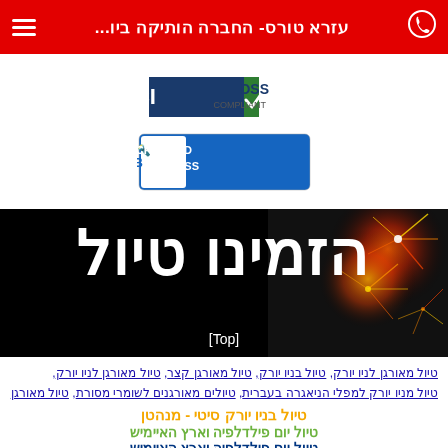עזרא טורס- החברה הותיקה ביו...
[Figure (logo): PCI DSS Compliant badge]
[Figure (logo): BBB Accredited Business badge]
[Figure (photo): Hero banner with Hebrew text 'הזמינו טיול' (Book a Trip) on black background with fireworks on the right side, and [Top] text below]
טיול מאורגן לניו יורק, טיול בניו יורק, טיול מאורגן קצר, טיול מאורגן לניו יורק, טיול מניו יורק למפלי הניאגרה בעברית, טיולים מאורגנים לשומרי מסורת, טיול מאורגן לשומרי מסורת, טיולים לישראלים בארה"ב, טיולים לשומרי מסורת בארה"ב
טיול בניו יורק סיטי - מנהטן
טיול יום פילדלפיה וארץ האיימיש
טיול יום פילדלפיה וארץ האיימיש
טיול ונסיעה למפלי הניאגרה